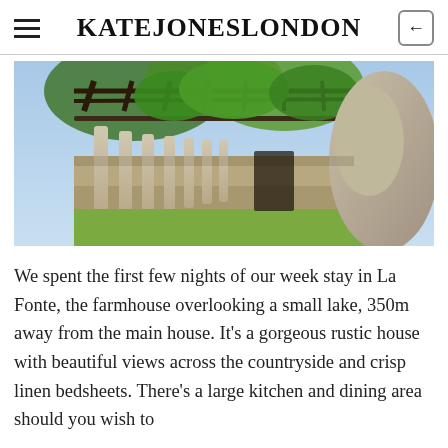KATEJONESLONDON
[Figure (photo): Outdoor pergola with classical stone columns overgrown with lush green vines and foliage, stone walls and ruins visible, natural landscape setting]
We spent the first few nights of our week stay in La Fonte, the farmhouse overlooking a small lake, 350m away from the main house. It's a gorgeous rustic house with beautiful views across the countryside and crisp linen bedsheets. There's a large kitchen and dining area should you wish to